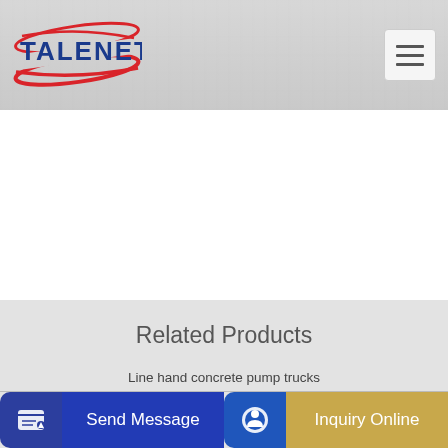[Figure (logo): Talenet logo with red oval graphic and blue bold text TALENET]
Related Products
Line hand concrete pump trucks
One-Stop mini beton mixer pump Depot From Leading Sellers
Send Message
Inquiry Online